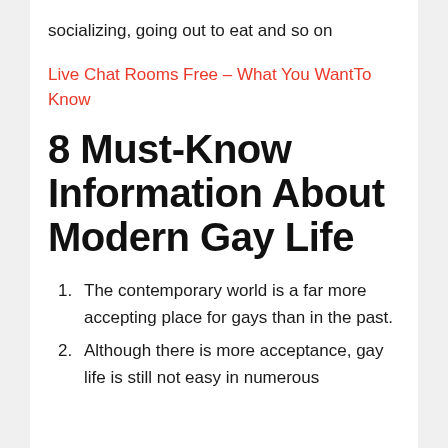socializing, going out to eat and so on
Live Chat Rooms Free – What You Want To Know
8 Must-Know Information About Modern Gay Life
The contemporary world is a far more accepting place for gays than in the past.
Although there is more acceptance, gay life is still not easy in numerous